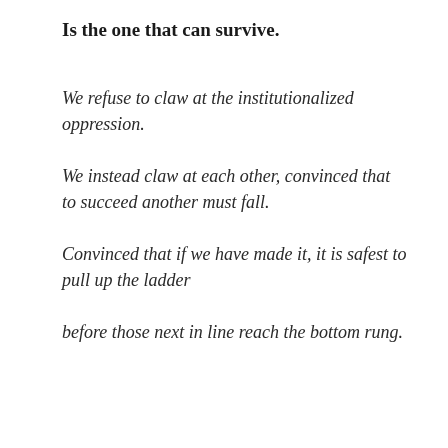Is the one that can survive.
We refuse to claw at the institutionalized oppression.
We instead claw at each other, convinced that to succeed another must fall.
Convinced that if we have made it, it is safest to pull up the ladder
before those next in line reach the bottom rung.